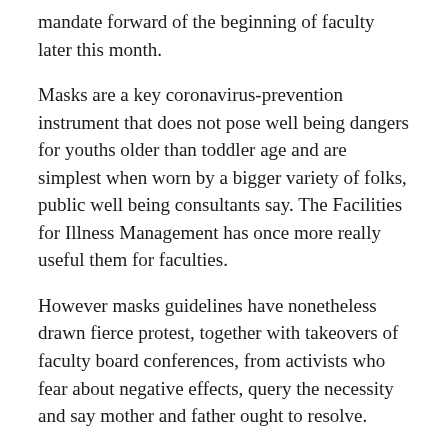mandate forward of the beginning of faculty later this month.
Masks are a key coronavirus-prevention instrument that does not pose well being dangers for youths older than toddler age and are simplest when worn by a bigger variety of folks, public well being consultants say. The Facilities for Illness Management has once more really useful them for faculties.
However masks guidelines have nonetheless drawn fierce protest, together with takeovers of faculty board conferences, from activists who fear about negative effects, query the necessity and say mother and father ought to resolve.
The DeSantis risk to withhold salaries drew